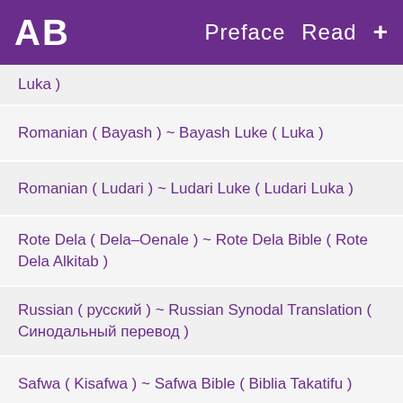AB  Preface  Read  +
Luka )
Romanian ( Bayash ) ~ Bayash Luke ( Luka )
Romanian ( Ludari ) ~ Ludari Luke ( Ludari Luka )
Rote Dela ( Dela–Oenale ) ~ Rote Dela Bible ( Rote Dela Alkitab )
Russian ( русский ) ~ Russian Synodal Translation ( Синодальный перевод )
Safwa ( Kisafwa ) ~ Safwa Bible ( Biblia Takatifu )
Scots Gaelic ( Gàidhlig ) ~ Scots Gaelic Gospel of Mark